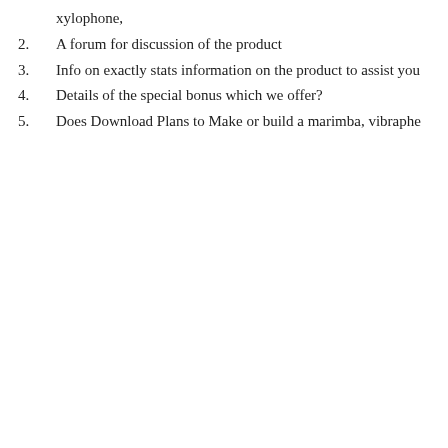xylophone,
2. A forum for discussion of the product
3. Info on exactly stats information on the product to assist you
4. Details of the special bonus which we offer?
5. Does Download Plans to Make or build a marimba, vibraphe